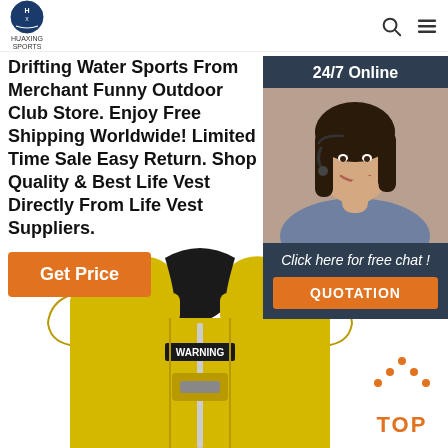HUAXING SPORTS
Drifting Water Sports From Merchant Funny Outdoor Club Store. Enjoy Free Shipping Worldwide! Limited Time Sale Easy Return. Shop Quality & Best Life Vest Directly From Life Vest Suppliers.
Get Price
[Figure (photo): 24/7 Online customer service agent, woman with headset smiling, with chat panel: 'Click here for free chat!' and QUOTATION button]
[Figure (photo): Yellow life vest / buoyancy aid product photo, front view showing neoprene vest with WARNING text label]
[Figure (other): TOP navigation button with orange dots arranged as arrow pointing up, and the text TOP in orange]